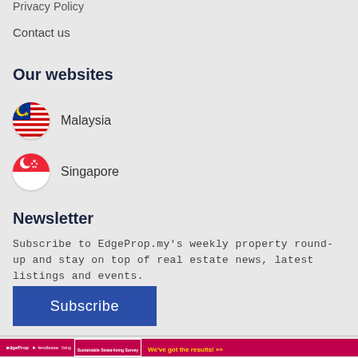Privacy Policy
Contact us
Our websites
Malaysia
Singapore
Newsletter
Subscribe to EdgeProp.my's weekly property round-up and stay on top of real estate news, latest listings and events.
Subscribe
[Figure (infographic): CLOSE X button overlay and EdgeProp / Lendlease Living Sustainable Strata-living Survey banner with text 'We've got the results!']